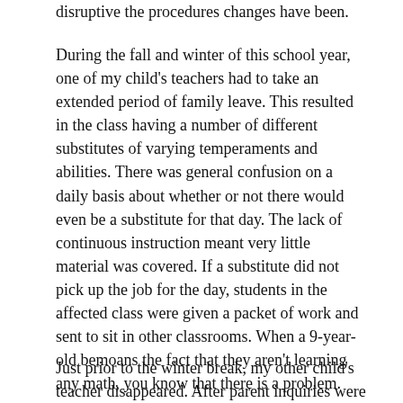disruptive the procedures changes have been.
During the fall and winter of this school year, one of my child's teachers had to take an extended period of family leave. This resulted in the class having a number of different substitutes of varying temperaments and abilities. There was general confusion on a daily basis about whether or not there would even be a substitute for that day. The lack of continuous instruction meant very little material was covered. If a substitute did not pick up the job for the day, students in the affected class were given a packet of work and sent to sit in other classrooms. When a 9-year-old bemoans the fact that they aren't learning any math, you know that there is a problem.
Just prior to the winter break, my other child's teacher disappeared. After parent inquiries were